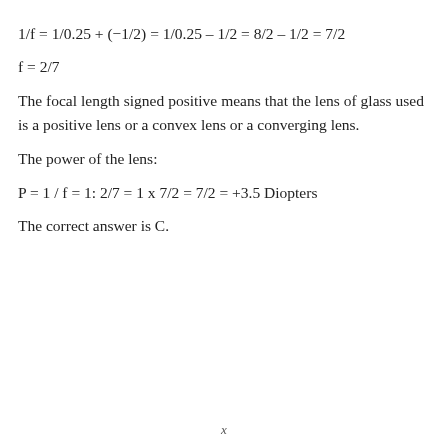The focal length signed positive means that the lens of glass used is a positive lens or a convex lens or a converging lens.
The power of the lens:
The correct answer is C.
x